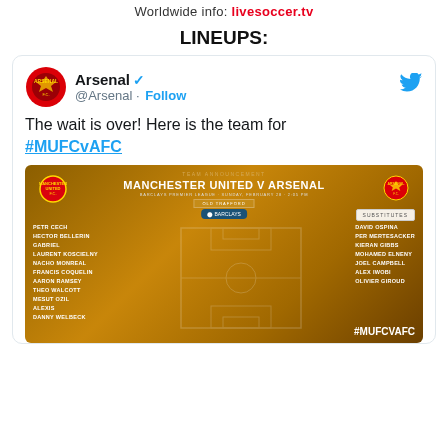Worldwide info: livesoccer.tv
LINEUPS:
[Figure (screenshot): Embedded tweet from @Arsenal showing team lineup for Manchester United v Arsenal with a golden team announcement graphic listing starters: Petr Cech, Hector Bellerin, Gabriel, Laurent Koscielny, Nacho Monreal, Francis Coquelin, Aaron Ramsey, Theo Walcott, Mesut Ozil, Alexis, Danny Welbeck. Substitutes: David Ospina, Per Mertesacker, Kieran Gibbs, Mohamed Elneny, Joel Campbell, Alex Iwobi, Olivier Giroud. Tweet text: 'The wait is over! Here is the team for #MUFCvAFC']